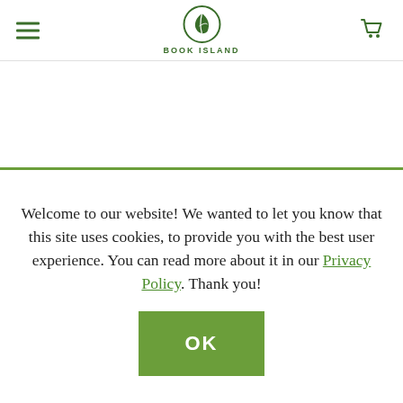[Figure (logo): Book Island logo with green leaf icon in a circle and text BOOK ISLAND below]
Welcome to our website! We wanted to let you know that this site uses cookies, to provide you with the best user experience. You can read more about it in our Privacy Policy. Thank you!
OK